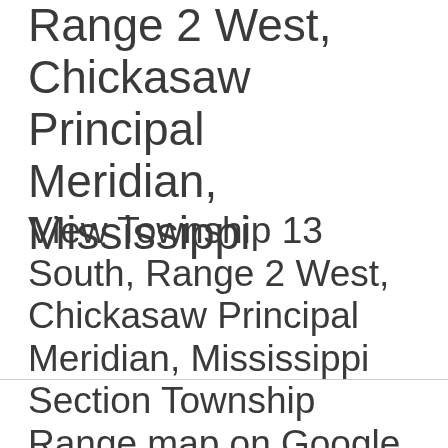Range 2 West, Chickasaw Principal Meridian, Mississippi
View Township 13 South, Range 2 West, Chickasaw Principal Meridian, Mississippi Section Township Range map on Google Maps • Free township and range locator searches by address, place or reverse find by land parcel description.